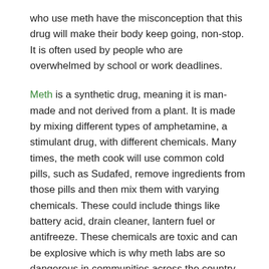who use meth have the misconception that this drug will make their body keep going, non-stop. It is often used by people who are overwhelmed by school or work deadlines.
Meth is a synthetic drug, meaning it is man-made and not derived from a plant. It is made by mixing different types of amphetamine, a stimulant drug, with different chemicals. Many times, the meth cook will use common cold pills, such as Sudafed, remove ingredients from those pills and then mix them with varying chemicals. These could include things like battery acid, drain cleaner, lantern fuel or antifreeze. These chemicals are toxic and can be explosive which is why meth labs are so dangerous in communities across the country.